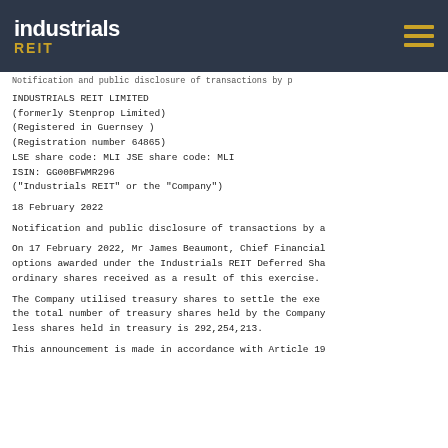[Figure (logo): Industrials REIT logo on dark navy header bar with hamburger menu icon]
Notification and public disclosure of transactions by p
INDUSTRIALS REIT LIMITED
(formerly Stenprop Limited)
(Registered in Guernsey )
(Registration number 64865)
LSE share code: MLI JSE share code: MLI
ISIN: GG00BFWMR296
("Industrials REIT" or the "Company")
18 February 2022
Notification and public disclosure of transactions by a
On 17 February 2022, Mr James Beaumont, Chief Financial options awarded under the Industrials REIT Deferred Sha ordinary shares received as a result of this exercise.
The Company utilised treasury shares to settle the exe the total number of treasury shares held by the Company less shares held in treasury is 292,254,213.
This announcement is made in accordance with Article 19